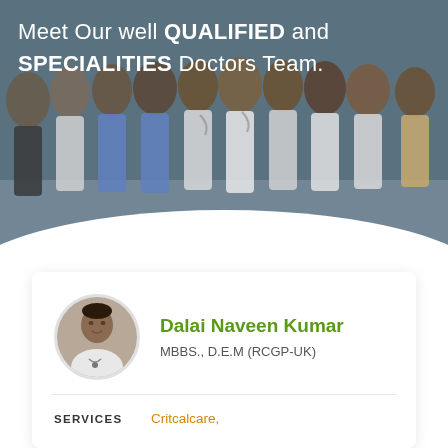[Figure (photo): Group photo of doctors in white coats and medical scrubs, team photo taken in a clinical setting. Background image for the doctors team section.]
Meet Our well QUALIFIED and SPECIALITIES Doctors Team.
[Figure (photo): Circular profile photo of Dr. Dalai Naveen Kumar, a male doctor wearing a white coat with stethoscope.]
Dalai Naveen Kumar
MBBS., D.E.M (RCGP-UK)
SERVICES
Critcalcare,